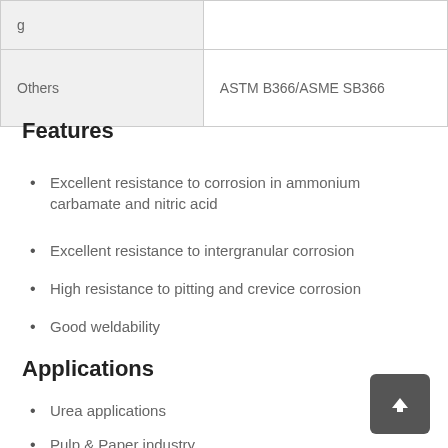|  |  |
| --- | --- |
|  |  |
| Others | ASTM B366/ASME SB366 |
Features
Excellent resistance to corrosion in ammonium carbamate and nitric acid
Excellent resistance to intergranular corrosion
High resistance to pitting and crevice corrosion
Good weldability
Applications
Urea applications
Pulp & Paper industry